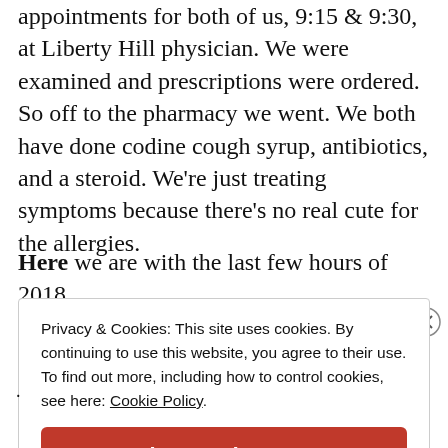appointments for both of us, 9:15 & 9:30, at Liberty Hill physician. We were examined and prescriptions were ordered. So off to the pharmacy we went. We both have done codine cough syrup, antibiotics, and a steroid. We're just treating symptoms because there's no real cute for the allergies.
Here we are with the last few hours of 2018
Privacy & Cookies: This site uses cookies. By continuing to use this website, you agree to their use. To find out more, including how to control cookies, see here: Cookie Policy
Close and accept